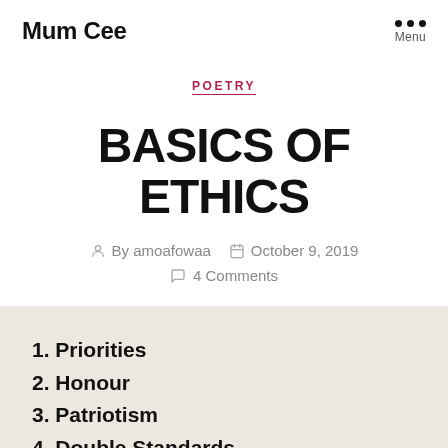Mum Cee
POETRY
BASICS OF ETHICS
By amoafowaa  October 9, 2019  4 Comments
1. Priorities
2. Honour
3. Patriotism
4. Double Standards